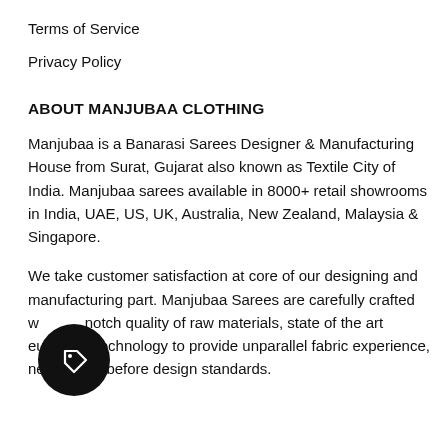Terms of Service
Privacy Policy
ABOUT MANJUBAA CLOTHING
Manjubaa is a Banarasi Sarees Designer & Manufacturing House from Surat, Gujarat also known as Textile City of India. Manjubaa sarees available in 8000+ retail showrooms in India, UAE, US, UK, Australia, New Zealand, Malaysia & Singapore.
We take customer satisfaction at core of our designing and manufacturing part. Manjubaa Sarees are carefully crafted with top-notch quality of raw materials, state of the art european technology to provide unparallel fabric experience, never seen before design standards.
[Figure (logo): Dark circular badge icon with a tag/label symbol inside]